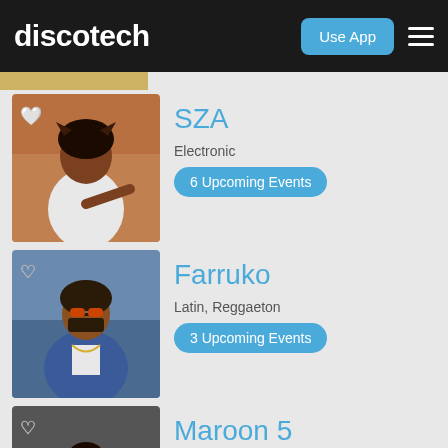discotech | Use App
[Figure (photo): SZA artist photo - woman in white top with cat ear accessory against orange-brown background]
SZA
Electronic
6 Upcoming Events
[Figure (photo): Farruko artist photo - man with sunglasses in blue floral jacket]
Farruko
Latin, Reggaeton
3 Upcoming Events
[Figure (photo): Maroon 5 band photo - group of people in casual clothing]
Maroon 5
Electronic, Pop, Rock
1 Upcoming Events